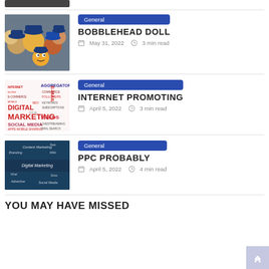[Figure (photo): Partial image of a person, cropped at top]
[Figure (photo): Group of bobblehead dolls with baseball caps]
General
BOBBLEHEAD DOLL
May 31, 2022   3 min read
[Figure (photo): Digital marketing word cloud with INTERNET, DIGITAL, MARKETING, SOCIAL MEDIA, E-MAIL etc.]
General
INTERNET PROMOTING
April 5, 2022   3 min read
[Figure (photo): Blue digital marketing concept image with handwriting: Content Marketing, Seo, Branding, Writing, Viral, Advertise, Social Media, Digital Marketing]
General
PPC PROBABLY
April 5, 2022   4 min read
YOU MAY HAVE MISSED